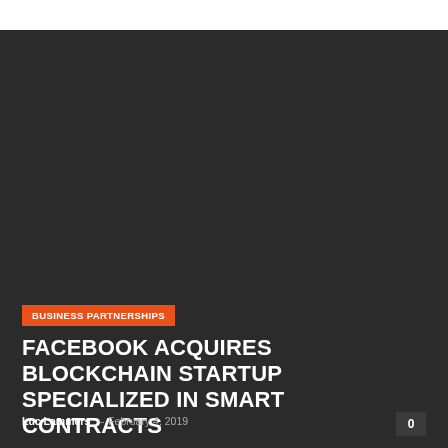[Figure (photo): Dark background image area filling most of the page]
BUSINESS PARTNERSHIPS
FACEBOOK ACQUIRES BLOCKCHAIN STARTUP SPECIALIZED IN SMART CONTRACTS
Luc Lammers – February 4, 2019